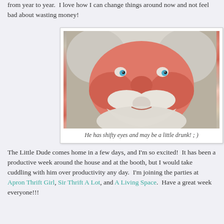from year to year.  I love how I can change things around now and not feel bad about wasting money!
[Figure (photo): Close-up photo of a Santa Claus figurine/decoration with blue eyes, rosy cheeks, white mustache and beard]
He has shifty eyes and may be a little drunk! ; )
The Little Dude comes home in a few days, and I'm so excited!  It has been a productive week around the house and at the booth, but I would take cuddling with him over productivity any day.  I'm joining the parties at Apron Thrift Girl, Sir Thrift A Lot, and A Living Space.  Have a great week everyone!!!